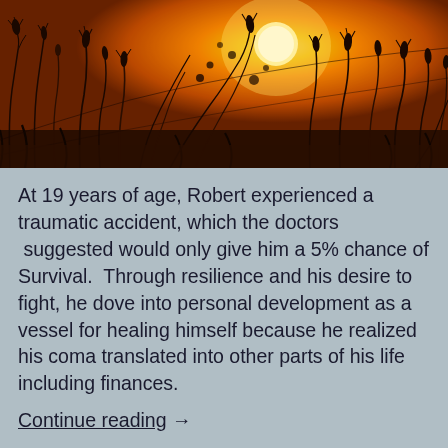[Figure (photo): Silhouette of wild grass and wheat stalks against a vivid orange sunset sky with a bright sun visible through the grasses]
At 19 years of age, Robert experienced a traumatic accident, which the doctors  suggested would only give him a 5% chance of Survival.  Through resilience and his desire to fight, he dove into personal development as a vessel for healing himself because he realized his coma translated into other parts of his life including finances.
Continue reading  →